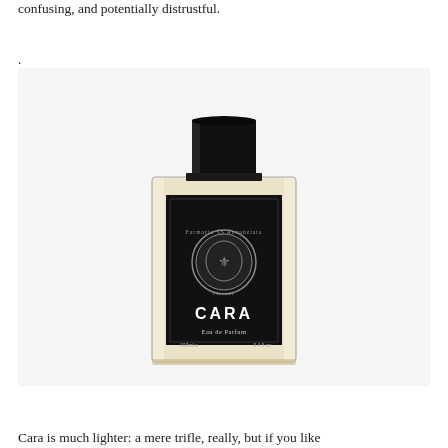confusing, and potentially distrustful.
.
[Figure (photo): A bottle of Farmacia SS Annunziata Cara Eau de Parfum, 100ml / 3.4 fl oz. The bottle is rectangular with a clear glass body containing pale golden liquid, topped with a cylindrical black cap. The label is black with a silver embossed crest and the name CARA in white text, with 'Eau de Parfum' and volume information below.]
Cara is much lighter: a mere trifle, really, but if you like